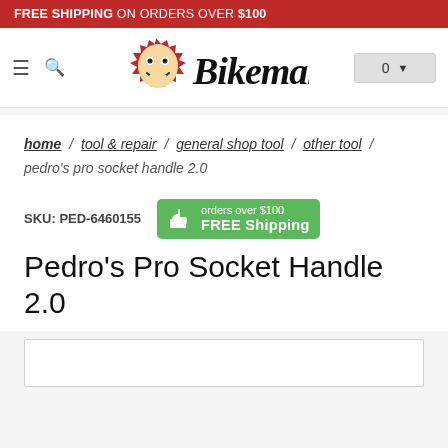FREE SHIPPING ON ORDERS OVER $100
[Figure (logo): Bikeman logo — cartoon face with red gear, italic Bikeman text]
home / tool & repair / general shop tool / other tool / pedro's pro socket handle 2.0
SKU: PED-6460155  orders over $100 FREE Shipping
Pedro's Pro Socket Handle 2.0